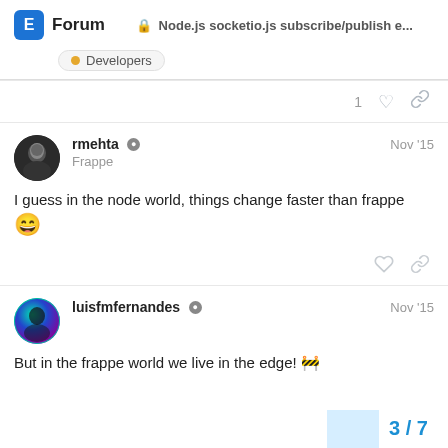Node.js socketio.js subscribe/publish e... | Forum | Developers
1
rmehta · Frappe · Nov '15 — I guess in the node world, things change faster than frappe 😄
luisfmfernandes · Nov '15 — But in the frappe world we live in the edge! 🚧
3 / 7